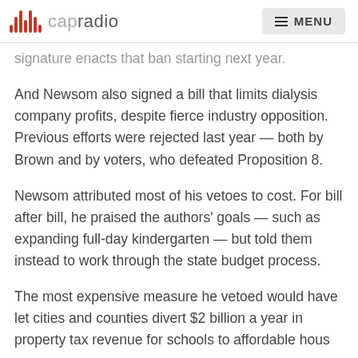capradio  MENU
signature enacts that ban starting next year.
And Newsom also signed a bill that limits dialysis company profits, despite fierce industry opposition. Previous efforts were rejected last year — both by Brown and by voters, who defeated Proposition 8.
Newsom attributed most of his vetoes to cost. For bill after bill, he praised the authors' goals — such as expanding full-day kindergarten — but told them instead to work through the state budget process.
The most expensive measure he vetoed would have let cities and counties divert $2 billion a year in property tax revenue for schools to affordable hous…